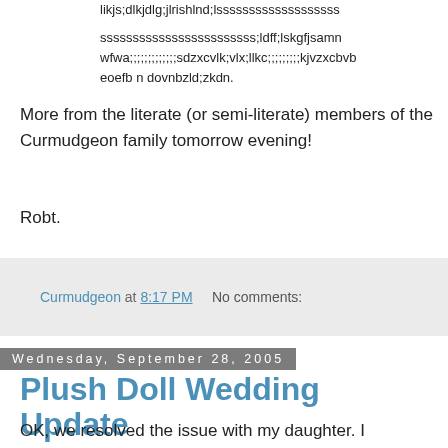likjs;dlkjdlg;jlrishlnd;lsssssssssssssssssss
ssssssssssssssssssssssss;ldff;lskgfjsamn wfwa;;;;;;;;;;;;;sdzxcvlk;vlx;llkc;;;;;;;;;kjvzxcbvb eoefb n dovnbzld;zkdn.
More from the literate (or semi-literate) members of the Curmudgeon family tomorrow evening!
Robt.
Curmudgeon at 8:17 PM     No comments:
Wednesday, September 28, 2005
Plush Doll Wedding Update
OK, we resolved the issue with my daughter. I confessed to her that the stuffed cat was not really married to the stuffed bear because lacked the power to marry them (I told my three year old this ONLY after I obtained her promise not to report me to the Bishop for violating Canon